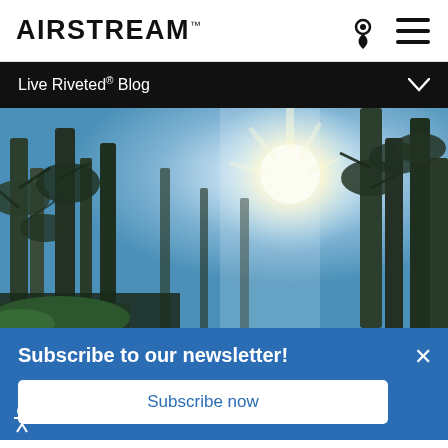AIRSTREAM
Live Riveted® Blog
[Figure (photo): Looking up through tall pine trees toward a bright sunburst sky with blue hues; outdoor nature photograph]
Subscribe to our newsletter!
Subscribe now